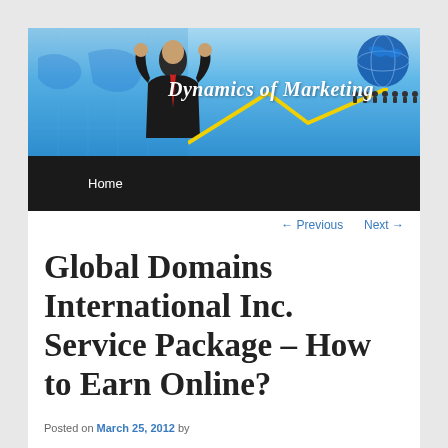[Figure (illustration): Website banner for 'Dynamics of Marketing' blog showing a man in a suit with raised fists, a world map background, a lightning bolt graphic, and a globe with people silhouettes, all on a blue gradient background]
Home
← Previous   Next →
Global Domains International Inc. Service Package – How to Earn Online?
Posted on March 25, 2012 by